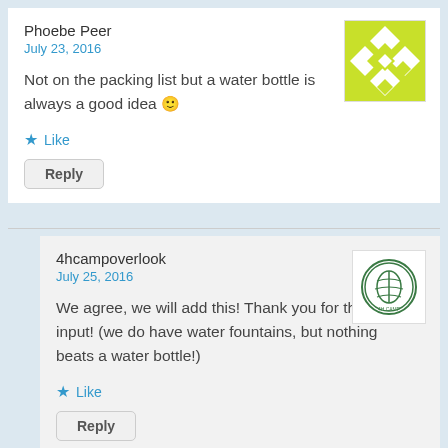Phoebe Peer
July 23, 2016
Not on the packing list but a water bottle is always a good idea 🙂
[Figure (illustration): Green geometric avatar with diamond pattern]
Like
Reply
4hcampoverlook
July 25, 2016
We agree, we will add this! Thank you for the input! (we do have water fountains, but nothing beats a water bottle!)
[Figure (logo): 4H camp overlook circular green logo]
Like
Reply